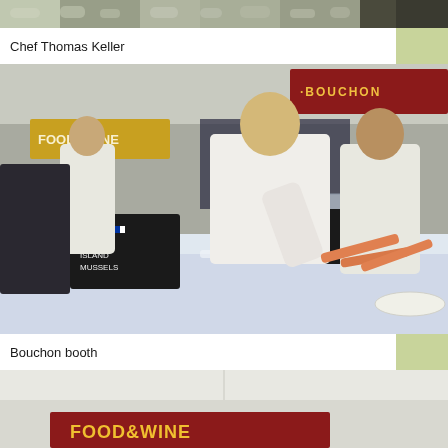[Figure (photo): Top cropped photo showing oysters or shellfish on display at a food and wine event]
Chef Thomas Keller
[Figure (photo): Photo of chefs at a Bouchon booth at a Food & Wine event, with a blonde female chef handling shrimp on ice, signs reading 'Prince Edward Island Mussels' and 'Sweet Shrimp']
Bouchon booth
[Figure (photo): Bottom partial photo showing a white tent with a Food & Wine banner visible at the bottom]